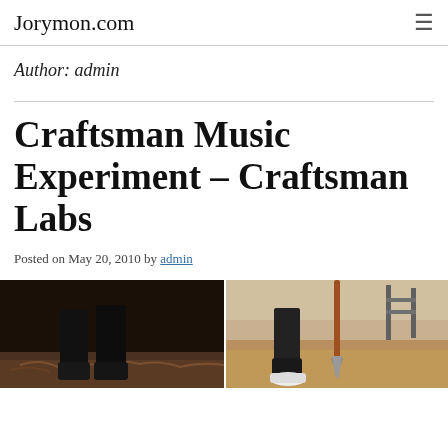Jorymon.com
Author: admin
Craftsman Music Experiment – Craftsman Labs
Posted on May 20, 2010 by admin
[Figure (photo): Two-panel photo showing feet and legs of people standing on dirt/ground, the left panel darker with black clothing, the right panel showing someone with a shovel on sandy ground.]